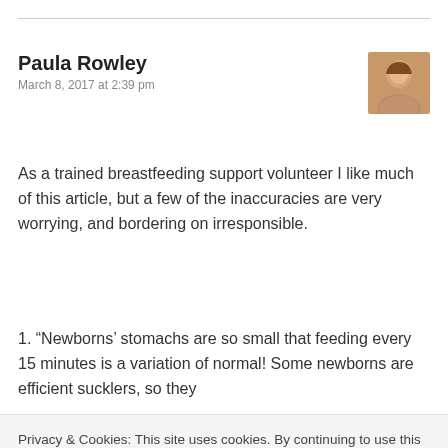Paula Rowley
March 8, 2017 at 2:39 pm
As a trained breastfeeding support volunteer I like much of this article, but a few of the inaccuracies are very worrying, and bordering on irresponsible.
1. “Newborns’ stomachs are so small that feeding every 15 minutes is a variation of normal! Some newborns are efficient sucklers, so they
Privacy & Cookies: This site uses cookies. By continuing to use this website, you agree to their use.
To find out more, including how to control cookies, see here: Cookie Policy
Close and accept